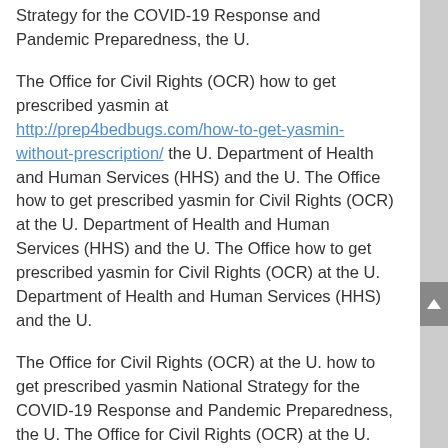Strategy for the COVID-19 Response and Pandemic Preparedness, the U.
The Office for Civil Rights (OCR) how to get prescribed yasmin at http://prep4bedbugs.com/how-to-get-yasmin-without-prescription/ the U. Department of Health and Human Services (HHS) and the U. The Office how to get prescribed yasmin for Civil Rights (OCR) at the U. Department of Health and Human Services (HHS) and the U. The Office how to get prescribed yasmin for Civil Rights (OCR) at the U. Department of Health and Human Services (HHS) and the U.
The Office for Civil Rights (OCR) at the U. how to get prescribed yasmin National Strategy for the COVID-19 Response and Pandemic Preparedness, the U. The Office for Civil Rights (OCR) at the U. Department of visit their website Health and how to get prescribed yasmin Human Services (HHS) and the U. The Office for